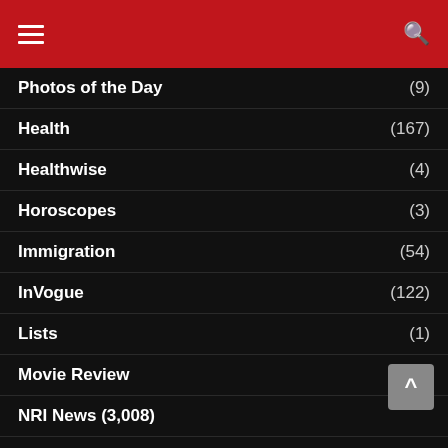Navigation menu header with hamburger icon and search icon
Photos of the Day (9)
Health (167)
Healthwise (4)
Horoscopes (3)
Immigration (54)
InVogue (122)
Lists (1)
Movie Review (354)
NRI News (3,008)
Perspective (127)
Spirituality (7)
Success Skills
Tech & Social Media News (101)
Tribute to Atlanta Naari (8)